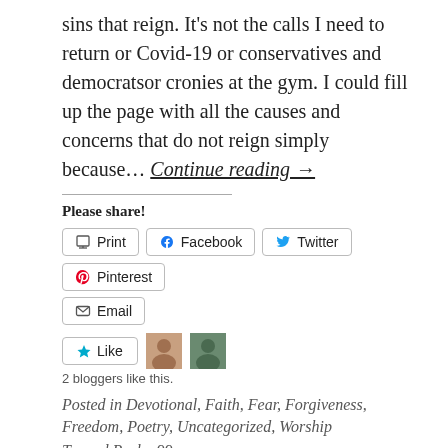sins that reign. It’s not the calls I need to return or Covid-19 or conservatives and democratsor cronies at the gym. I could fill up the page with all the causes and concerns that do not reign simply because… Continue reading →
Please share!
Print | Facebook | Twitter | Pinterest | Email
Like | 2 bloggers like this.
Posted in Devotional, Faith, Fear, Forgiveness, Freedom, Poetry, Uncategorized, Worship
Tagged Psalm 99